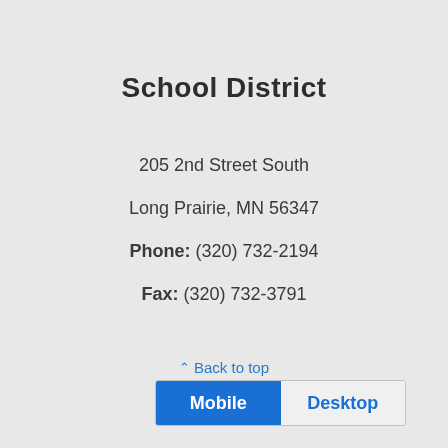School District
205 2nd Street South
Long Prairie, MN 56347
Phone: (320) 732-2194
Fax: (320) 732-3791
↑ Back to top
Mobile   Desktop